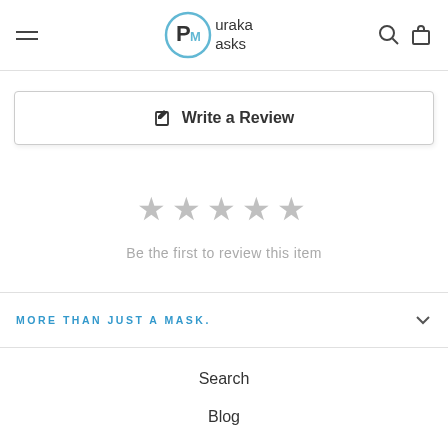Puraka Masks
Write a Review
[Figure (other): Five empty grey star rating icons]
Be the first to review this item
MORE THAN JUST A MASK.
Search
Blog